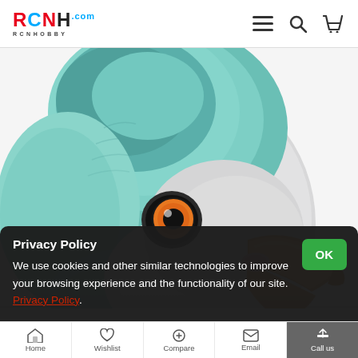[Figure (logo): RCNHOBBY logo with stylized letters R, C, N, H in red and blue, with .com superscript, and RCNHOBBY text below]
[Figure (photo): Close-up product photo of a realistic bird (parrot/pigeon) figure/mask with teal-green head feathers, white-grey chest, orange beak, and orange eye with black pupil on white background]
Privacy Policy
We use cookies and other similar technologies to improve your browsing experience and the functionality of our site. Privacy Policy.